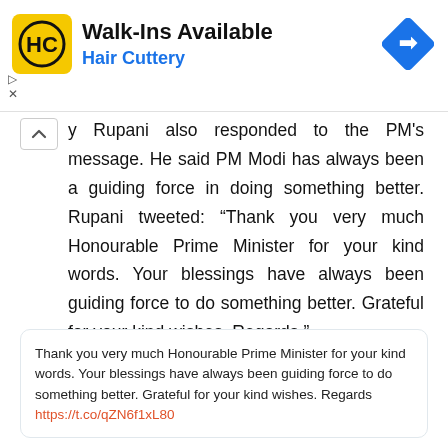[Figure (screenshot): Hair Cuttery advertisement banner with yellow logo, 'Walk-Ins Available' title, 'Hair Cuttery' subtitle in blue, and a blue navigation diamond icon]
y Rupani also responded to the PM's message. He said PM Modi has always been a guiding force in doing something better. Rupani tweeted: “Thank you very much Honourable Prime Minister for your kind words. Your blessings have always been guiding force to do something better. Grateful for your kind wishes. Regards.”
Thank you very much Honourable Prime Minister for your kind words. Your blessings have always been guiding force to do something better. Grateful for your kind wishes. Regards https://t.co/qZN6f1xL80